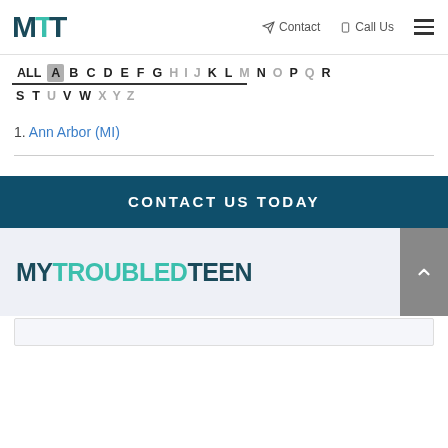MTT | Contact | Call Us
ALL A B C D E F G H I J K L M N O P Q R S T U V W X Y Z
1. Ann Arbor (MI)
CONTACT US TODAY
[Figure (logo): MyTroubledTeen logo in teal and dark navy text]
[Figure (screenshot): Bottom contact form strip, partially visible]